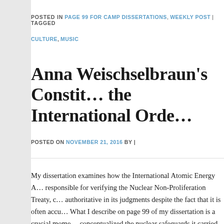POSTED IN PAGE 99 FOR CAMP DISSERTATIONS, WEEKLY POST | TAGGED CULTURE, MUSIC
Anna Weischselbraun's Constituting the International Nuclear Order
POSTED ON NOVEMBER 21, 2016 BY |
My dissertation examines how the International Atomic Energy A… responsible for verifying the Nuclear Non-Proliferation Treaty, c… authoritative in its judgments despite the fact that it is often accu… What I describe on page 99 of my dissertation is a crucial mome… conceptualized the nuclear safeguards it carried out for treaty ver… moment was precipitated by the IAEA's failure to detect Iraq's n… the early 1990s. I argue that a significant epistemological shift w… fundamentally quantitative-administrative logic to a qualitative-c… methodological transformation from considering only the activi…